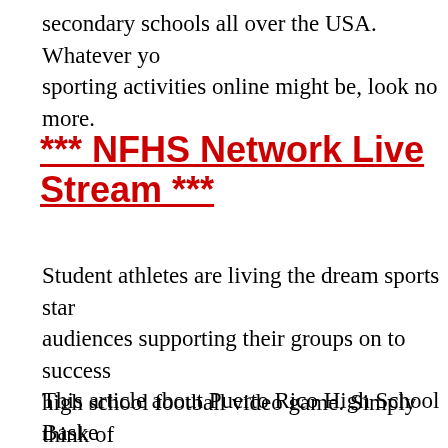secondary schools all over the USA. Whatever your reason for watching sporting activities online might be, look no more.
*** NFHS Network Live Stream ***
Student athletes are living the dream sports stars, with audiences supporting their groups on to success at every high school football video game. Simply think of watching live online? You would have all that exhilaration without having to spend for the ticket or travel costs. With worries about viewing senior high schools sports live streams a...
This article about Puerto Rico High School Basketball helps high school sports live on-line by showing you ex...